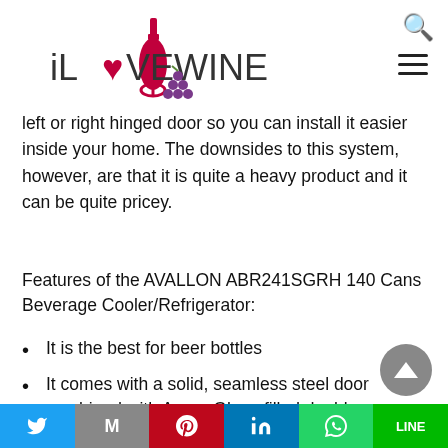iLOVEWINE
left or right hinged door so you can install it easier inside your home. The downsides to this system, however, are that it is quite a heavy product and it can be quite pricey.
Features of the AVALLON ABR241SGRH 140 Cans Beverage Cooler/Refrigerator:
It is the best for beer bottles
It comes with a solid, seamless steel door combined with Argon Glass-filled double-paned Low-E gas filters.
Twitter | Gmail | Pinterest | LinkedIn | WhatsApp | LINE